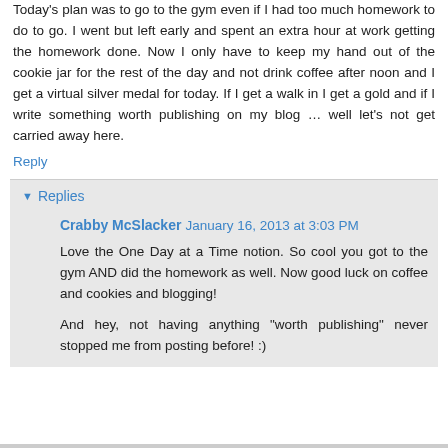Today's plan was to go to the gym even if I had too much homework to do to go. I went but left early and spent an extra hour at work getting the homework done. Now I only have to keep my hand out of the cookie jar for the rest of the day and not drink coffee after noon and I get a virtual silver medal for today. If I get a walk in I get a gold and if I write something worth publishing on my blog … well let's not get carried away here.
Reply
Replies
Crabby McSlacker  January 16, 2013 at 3:03 PM
Love the One Day at a Time notion. So cool you got to the gym AND did the homework as well. Now good luck on coffee and cookies and blogging!
And hey, not having anything "worth publishing" never stopped me from posting before! :)